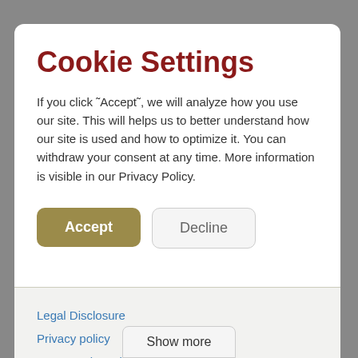Cookie Settings
If you click ˜Accept˜, we will analyze how you use our site. This will helps us to better understand how our site is used and how to optimize it. You can withdraw your consent at any time. More information is visible in our Privacy Policy.
Accept
Decline
Legal Disclosure
Privacy policy
Terms and conditions
Show more